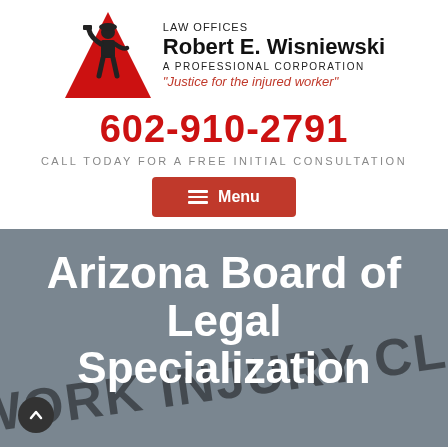[Figure (logo): Law Offices Robert E. Wisniewski logo with red triangle/worker silhouette graphic and firm name text]
602-910-2791
CALL TODAY FOR A FREE INITIAL CONSULTATION
Menu
Arizona Board of Legal Specialization